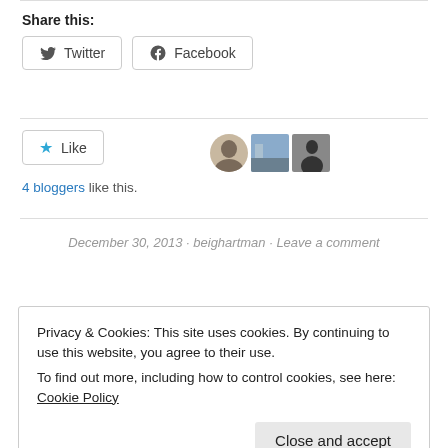Share this:
Twitter  Facebook
[Figure (other): Like button with star icon and three small avatar images of bloggers]
4 bloggers like this.
December 30, 2013 · beighartman · Leave a comment
Privacy & Cookies: This site uses cookies. By continuing to use this website, you agree to their use. To find out more, including how to control cookies, see here: Cookie Policy
Close and accept